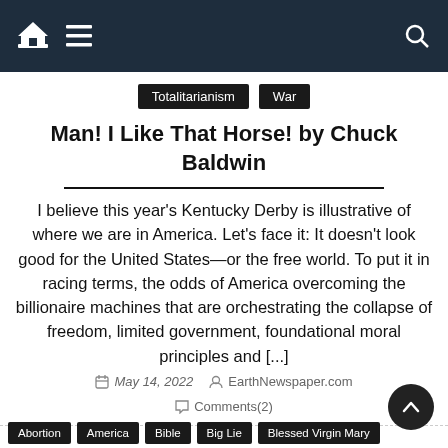Navigation bar with home, menu, and search icons
Totalitarianism
War
Man! I Like That Horse! by Chuck Baldwin
I believe this year's Kentucky Derby is illustrative of where we are in America. Let's face it: It doesn't look good for the United States—or the free world. To put it in racing terms, the odds of America overcoming the billionaire machines that are orchestrating the collapse of freedom, limited government, foundational moral principles and [...]
May 14, 2022  EarthNewspaper.com
Comments(2)
Abortion
America
Bible
Big Lie
Blessed Virgin Mary